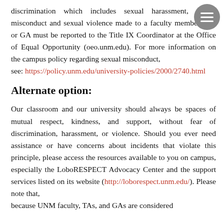discrimination which includes sexual harassment, sexual misconduct and sexual violence made to a faculty member, TA, or GA must be reported to the Title IX Coordinator at the Office of Equal Opportunity (oeo.unm.edu). For more information on the campus policy regarding sexual misconduct, see: https://policy.unm.edu/university-policies/2000/2740.html
Alternate option:
Our classroom and our university should always be spaces of mutual respect, kindness, and support, without fear of discrimination, harassment, or violence. Should you ever need assistance or have concerns about incidents that violate this principle, please access the resources available to you on campus, especially the LoboRESPECT Advocacy Center and the support services listed on its website (http://loborespect.unm.edu/). Please note that, because UNM faculty, TAs, and GAs are considered